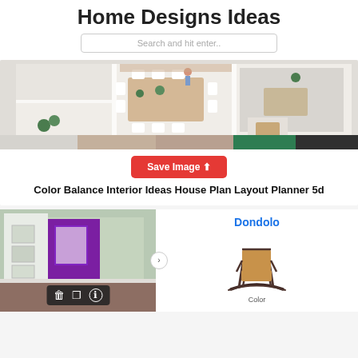Home Designs Ideas
Search and hit enter..
[Figure (illustration): 3D floor plan layout with dining area, living room, kitchen. Color swatches row below: light gray, beige/tan, brown/rose, green, dark charcoal.]
Save Image ⬆
Color Balance Interior Ideas House Plan Layout Planner 5d
[Figure (screenshot): Interior room rendering with purple accent wall, white walls, wood floor, wall art. Toolbar overlay with trash, share, and info icons.]
Dondolo
[Figure (illustration): Rocking chair (Dondolo) product image - tan leather seat with dark wood rocker frame.]
Color